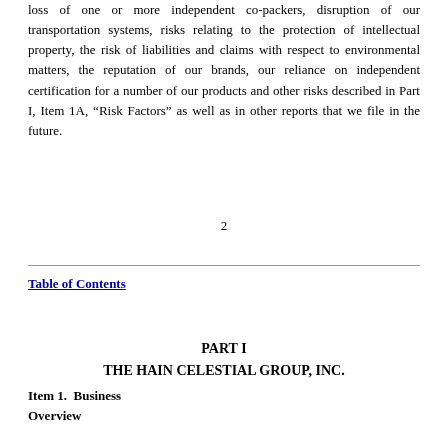loss of one or more independent co-packers, disruption of our transportation systems, risks relating to the protection of intellectual property, the risk of liabilities and claims with respect to environmental matters, the reputation of our brands, our reliance on independent certification for a number of our products and other risks described in Part I, Item 1A, “Risk Factors” as well as in other reports that we file in the future.
2
Table of Contents
PART I
THE HAIN CELESTIAL GROUP, INC.
Item 1.  Business
Overview